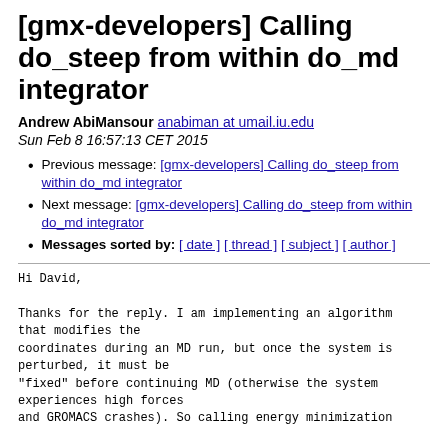[gmx-developers] Calling do_steep from within do_md integrator
Andrew AbiMansour anabiman at umail.iu.edu
Sun Feb 8 16:57:13 CET 2015
Previous message: [gmx-developers] Calling do_steep from within do_md integrator
Next message: [gmx-developers] Calling do_steep from within do_md integrator
Messages sorted by: [ date ] [ thread ] [ subject ] [ author ]
Hi David,

Thanks for the reply. I am implementing an algorithm
that modifies the
coordinates during an MD run, but once the system is
perturbed, it must be
"fixed" before continuing MD (otherwise the system
experiences high forces
and GROMACS crashes). So calling energy minimization